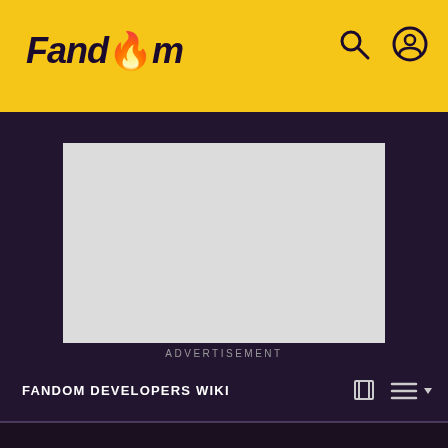Fandom
[Figure (screenshot): Advertisement placeholder - grey rectangle]
ADVERTISEMENT
FANDOM DEVELOPERS WIKI
MassEdit
DISCUSS
sEdit
ct Operation